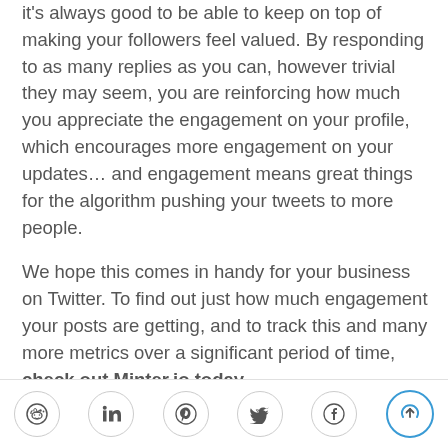it's always good to be able to keep on top of making your followers feel valued. By responding to as many replies as you can, however trivial they may seem, you are reinforcing how much you appreciate the engagement on your profile, which encourages more engagement on your updates… and engagement means great things for the algorithm pushing your tweets to more people.
We hope this comes in handy for your business on Twitter. To find out just how much engagement your posts are getting, and to track this and many more metrics over a significant period of time, check out Minter.io today.
[Figure (other): Footer social share buttons: Reddit, LinkedIn, Pinterest, Twitter, Facebook, and a scroll-to-top button]